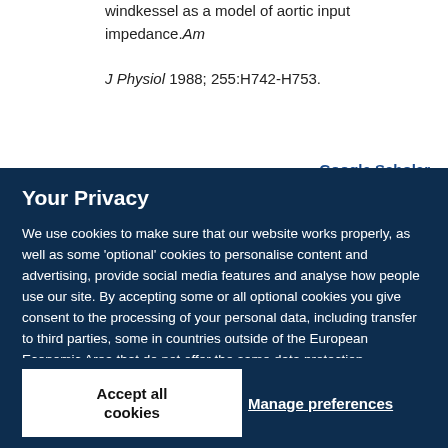windkessel as a model of aortic input impedance. Am J Physiol 1988; 255:H742-H753.
Google Scholar
Your Privacy
We use cookies to make sure that our website works properly, as well as some 'optional' cookies to personalise content and advertising, provide social media features and analyse how people use our site. By accepting some or all optional cookies you give consent to the processing of your personal data, including transfer to third parties, some in countries outside of the European Economic Area that do not offer the same data protection standards as the country where you live. You can decide which optional cookies to accept by clicking on 'Manage Settings', where you can also find more information about how your personal data is processed. Further information can be found in our privacy policy.
Accept all cookies
Manage preferences